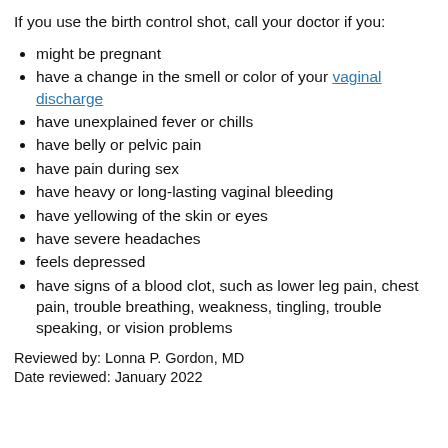If you use the birth control shot, call your doctor if you:
might be pregnant
have a change in the smell or color of your vaginal discharge
have unexplained fever or chills
have belly or pelvic pain
have pain during sex
have heavy or long-lasting vaginal bleeding
have yellowing of the skin or eyes
have severe headaches
feels depressed
have signs of a blood clot, such as lower leg pain, chest pain, trouble breathing, weakness, tingling, trouble speaking, or vision problems
Reviewed by: Lonna P. Gordon, MD
Date reviewed: January 2022